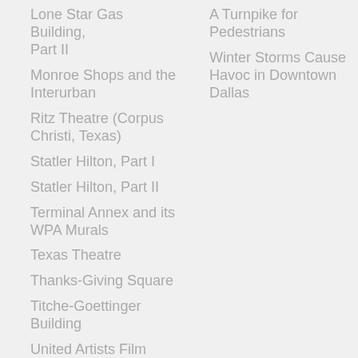Lone Star Gas Building, Part II
Monroe Shops and the Interurban
Ritz Theatre (Corpus Christi, Texas)
Statler Hilton, Part I
Statler Hilton, Part II
Terminal Annex and its WPA Murals
Texas Theatre
Thanks-Giving Square
Titche-Goettinger Building
United Artists Film Exchange
U.S. Post Office &...
A Turnpike for Pedestrians
Winter Storms Cause Havoc in Downtown Dallas